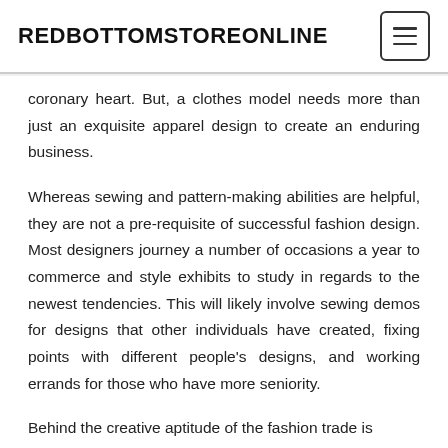REDBOTTOMSTOREONLINE
coronary heart. But, a clothes model needs more than just an exquisite apparel design to create an enduring business.
Whereas sewing and pattern-making abilities are helpful, they are not a pre-requisite of successful fashion design. Most designers journey a number of occasions a year to commerce and style exhibits to study in regards to the newest tendencies. This will likely involve sewing demos for designs that other individuals have created, fixing points with different people's designs, and working errands for those who have more seniority.
Behind the creative aptitude of the fashion trade is